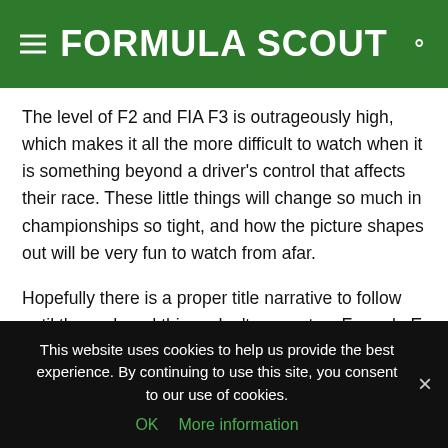FORMULA SCOUT
The level of F2 and FIA F3 is outrageously high, which makes it all the more difficult to watch when it is something beyond a driver's control that affects their race. These little things will change so much in championships so tight, and how the picture shapes out will be very fun to watch from afar.
Hopefully there is a proper title narrative to follow until the end, and things don't pan out as Formula E did last season when 18 drivers went into the final weekend still capable of winning the title. If so, some very good drivers will be overlooked for really good drives next year, and plenty more will miss out on crucial FIA
This website uses cookies to help us provide the best experience. By continuing to use this site, you consent to our use of cookies.